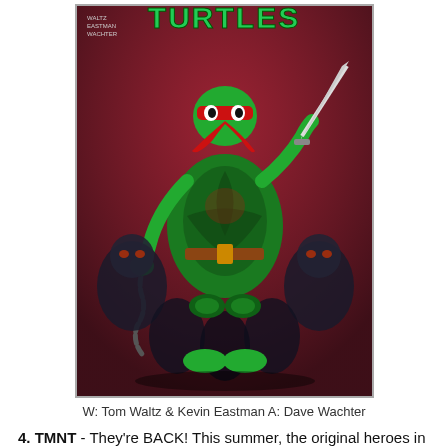[Figure (illustration): Comic book cover of Teenage Mutant Ninja Turtles. A ninja turtle wielding a sword stands in front of a group of dark armored enemies. The background is dark red/pink. The word TURTLES is visible at the top in large letters.]
W: Tom Waltz & Kevin Eastman A: Dave Wachter
4. TMNT - They're BACK! This summer, the original heroes in a half-shell make a triumphant return to comics! Leonardo, Donatello, Michaelangelo, and Raphael reunite to bring their ninja aptitude and teenage attitude to IDW Publishing in this all-new, action-packed series. Featuring a cast of familiar characters-Master Splinter, April O'Neill, Casey Jones, and more and true to the spirit of the original comics created by